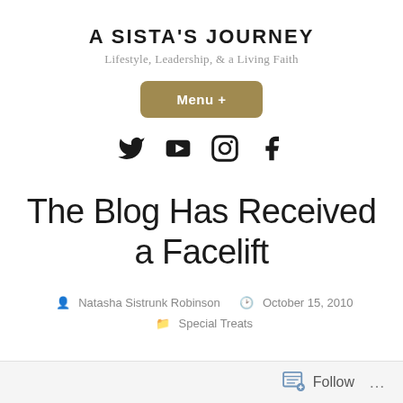A SISTA'S JOURNEY
Lifestyle, Leadership, & a Living Faith
[Figure (infographic): Menu + button (rounded rectangle, tan/gold color) and four social media icons: Twitter, YouTube, Instagram, Facebook]
The Blog Has Received a Facelift
Natasha Sistrunk Robinson   October 15, 2010   Special Treats
Follow ...